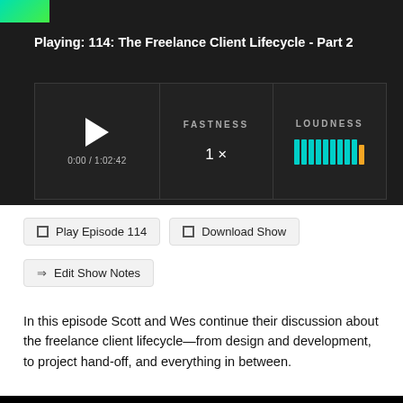[Figure (screenshot): Podcast player UI with play button, FASTNESS control showing 1x, and LOUDNESS volume bars in teal/orange]
Playing: 114: The Freelance Client Lifecycle - Part 2
Play Episode 114
Download Show
Edit Show Notes
In this episode Scott and Wes continue their discussion about the freelance client lifecycle—from design and development, to project hand-off, and everything in between.
Want to Sponsor the Podcast? Looking for some Sick Picks? © Wes Bos && Scott Tolinski 2022 Website made with React, Next.js and stylus. Hosted on Vercel. The source is on GitHub.